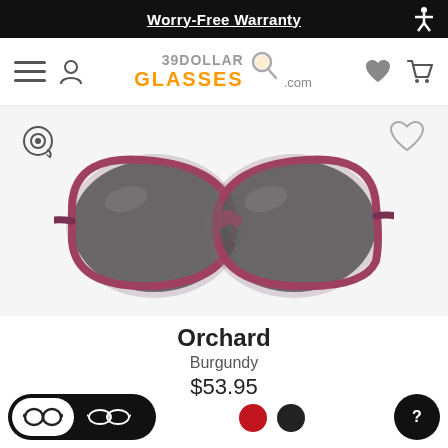Worry-Free Warranty
[Figure (logo): 39DollarGlasses.com logo with magnifying glass icon, hamburger menu, user icon, heart and cart icons]
[Figure (photo): Product photo of Orchard sunglasses in Burgundy color, cat-eye style with dark lenses and burgundy/pink frame, front view]
Orchard
Burgundy
$53.95
[Figure (infographic): Lens type toggle button (thick/thin lens icons), color swatches (red, black), and help button]